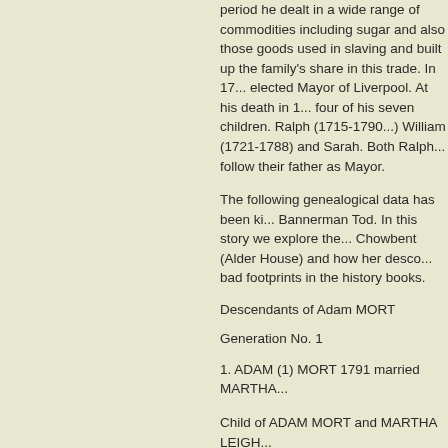period he dealt in a wide range of commodities including sugar and also those goods used in slaving and built up the family's share in this trade. In 17... elected Mayor of Liverpool. At his death in 1... four of his seven children. Ralph (1715-1790...) William (1721-1788) and Sarah. Both Ralph... follow their father as Mayor.
The following genealogical data has been ki... Bannerman Tod. In this story we explore the... Chowbent (Alder House) and how her desce... bad footprints in the history books.
Descendants of Adam MORT
Generation No. 1
1. ADAM (1) MORT 1791 married MARTHA...
Child of ADAM MORT and MARTHA LEIGH...
2. i.MARY (2) MORT, b. 1724, Alderfold, Cho...
Editors Note: The story and a photograph of... the 'Morts of Chowbent; story within the 'Ho... website.
Generation No. 2